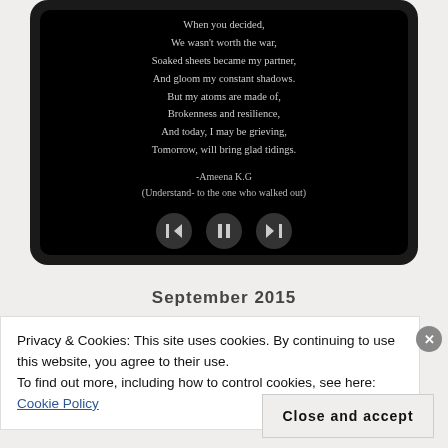[Figure (screenshot): A dark tablet/phone screen showing a poem on black background with media player controls (back, pause, forward buttons) at the bottom.]
When you decided,
We wasn't worth the war,
Soaked sheets became my partner,
And gloom my constant shadows.
But my atoms are made of,
Brokenness and resilience,
And today, I may be grieving,
Tomorrow, will bring glad tidings.

-Ameena K.G
(Understand- to the one who walked out)
September 2015
Privacy & Cookies: This site uses cookies. By continuing to use this website, you agree to their use.
To find out more, including how to control cookies, see here: Cookie Policy
Close and accept